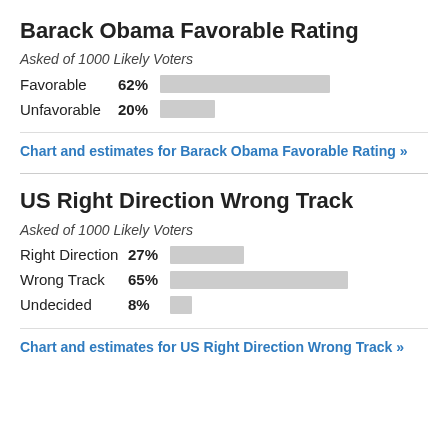Barack Obama Favorable Rating
Asked of 1000 Likely Voters
[Figure (bar-chart): Barack Obama Favorable Rating]
Chart and estimates for Barack Obama Favorable Rating »
US Right Direction Wrong Track
Asked of 1000 Likely Voters
[Figure (bar-chart): US Right Direction Wrong Track]
Chart and estimates for US Right Direction Wrong Track »